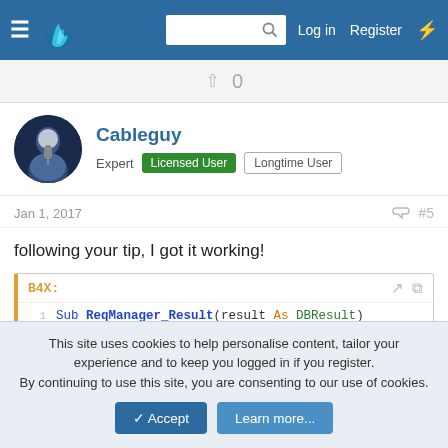Log in  Register
0
Cableguy
Expert  Licensed User  Longtime User
Jan 1, 2017  #5
following your tip, I got it working!
[Figure (screenshot): Code block labeled B4X showing Sub ReqManager_Result(result As DBResult), Log("tag: "&result.Tag), Select result.Tag]
This site uses cookies to help personalise content, tailor your experience and to keep you logged in if you register. By continuing to use this site, you are consenting to our use of cookies.